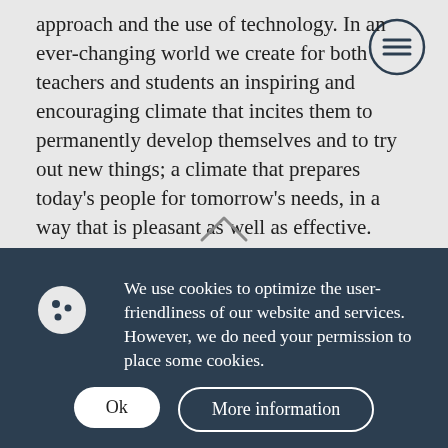approach and the use of technology. In an ever-changing world we create for both teachers and students an inspiring and encouraging climate that incites them to permanently develop themselves and to try out new things; a climate that prepares today's people for tomorrow's needs, in a way that is pleasant as well as effective.
We use cookies to optimize the user-friendliness of our website and services. However, we do need your permission to place some cookies.
Ok
More information